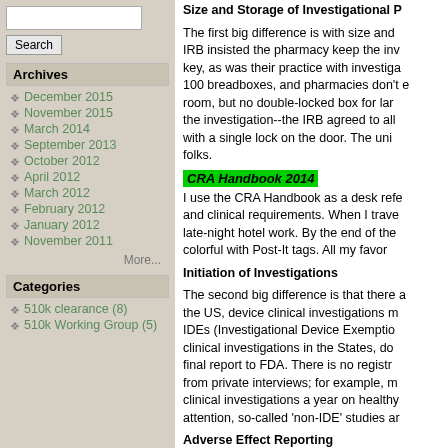Search input and button
Archives
December 2015
November 2015
March 2014
September 2013
October 2012
April 2012
March 2012
February 2012
January 2012
November 2011
More...
Categories
510k clearance (8)
510k Working Group (5)
Size and Storage of Investigational P
The first big difference is with size and... IRB insisted the pharmacy keep the inv... key, as was their practice with investiga... 100 breadboxes, and pharmacies don't e... room, but no double-locked box for lar... the investigation--the IRB agreed to all... with a single lock on the door. The uni... folks.
CRA Handbook 2014
I use the CRA Handbook as a desk refe... and clinical requirements. When I trave... late-night hotel work. By the end of the... colorful with Post-It tags. All my favor...
Initiation of Investigations
The second big difference is that there a... the US, device clinical investigations m... IDEs (Investigational Device Exemptio... clinical investigations in the States, do... final report to FDA. There is no registr... from private interviews; for example, m... clinical investigations a year on healthy... attention, so-called 'non-IDE' studies ar...
Adverse Effect Reporting
The third big difference between device... adverse effects and events. Adverse eff... otherwise specified by the protocol, on...